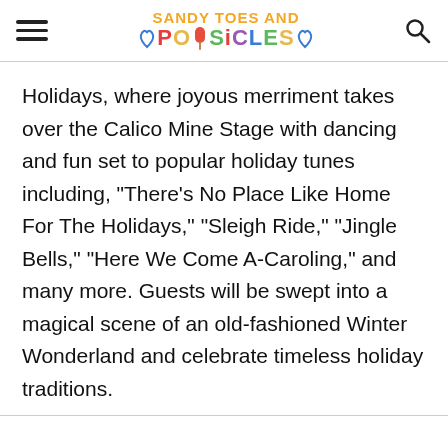SANDY TOES AND POPSICLES
Holidays, where joyous merriment takes over the Calico Mine Stage with dancing and fun set to popular holiday tunes including, "There's No Place Like Home For The Holidays," "Sleigh Ride," "Jingle Bells," "Here We Come A-Caroling," and many more. Guests will be swept into a magical scene of an old-fashioned Winter Wonderland and celebrate timeless holiday traditions.